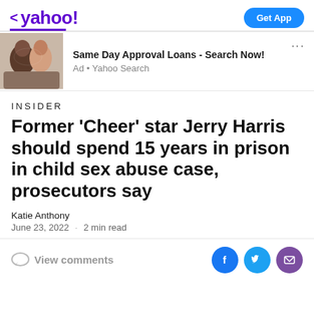< yahoo!   Get App
[Figure (screenshot): Ad banner with photo of couple and text: Same Day Approval Loans - Search Now! Ad • Yahoo Search]
INSIDER
Former 'Cheer' star Jerry Harris should spend 15 years in prison in child sex abuse case, prosecutors say
Katie Anthony
June 23, 2022 · 2 min read
View comments